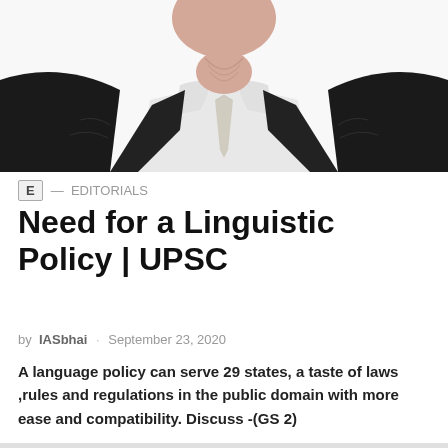[Figure (illustration): Illustrated portrait of a man in a black suit and white shirt with tie, artistic/graphic novel style rendering, cropped at chest level, partial face visible at top]
E — EDITORIALS
Need for a Linguistic Policy | UPSC
by IASbhai · September 23, 2020
A language policy can serve 29 states, a taste of laws ,rules and regulations in the public domain with more ease and compatibility. Discuss -(GS 2)